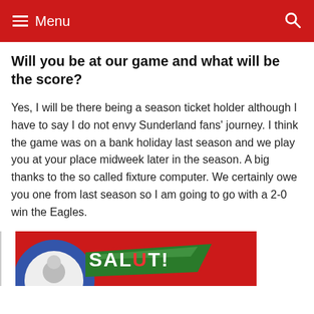Menu
Will you be at our game and what will be the score?
Yes, I will be there being a season ticket holder although I have to say I do not envy Sunderland fans' journey. I think the game was on a bank holiday last season and we play you at your place midweek later in the season. A big thanks to the so called fixture computer. We certainly owe you one from last season so I am going to go with a 2-0 win the Eagles.
[Figure (photo): Salut! logo image with red background, blue and green design elements]